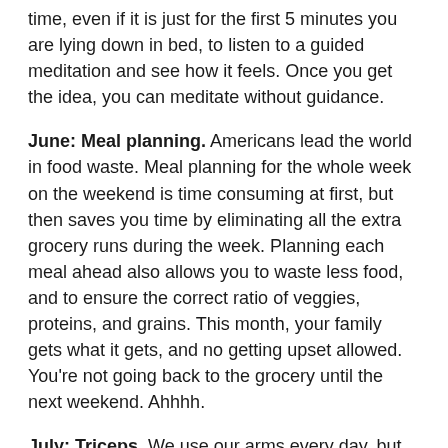time, even if it is just for the first 5 minutes you are lying down in bed, to listen to a guided meditation and see how it feels. Once you get the idea, you can meditate without guidance.
June: Meal planning. Americans lead the world in food waste. Meal planning for the whole week on the weekend is time consuming at first, but then saves you time by eliminating all the extra grocery runs during the week. Planning each meal ahead also allows you to waste less food, and to ensure the correct ratio of veggies, proteins, and grains. This month, your family gets what it gets, and no getting upset allowed. You’re not going back to the grocery until the next weekend. Ahhhh.
July: Triceps. We use our arms every day, but primary only for activities right in front of us. Our poor triceps don’t get the action they deserve. So, this month, commit to 30 push-ups a day (3 sets of 10 push-ups). You can work your way up if 30 sounds impossible. By the end of the month, 30 push-ups will only take 1 minute out of your day.